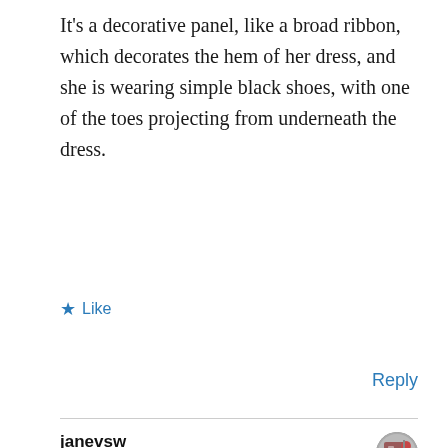It's a decorative panel, like a broad ribbon, which decorates the hem of her dress, and she is wearing simple black shoes, with one of the toes projecting from underneath the dress.
★ Like
Reply
janevsw
7th Mar 2021 at 9:40 pm
The broad ribbon was a way of confining wear on the hem of a dress that trailed on the floor to a removable part – it was easier